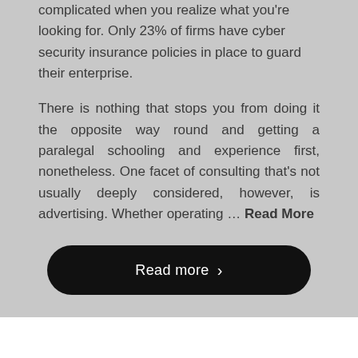complicated when you realize what you're looking for. Only 23% of firms have cyber security insurance policies in place to guard their enterprise.
There is nothing that stops you from doing it the opposite way round and getting a paralegal schooling and experience first, nonetheless. One facet of consulting that's not usually deeply considered, however, is advertising. Whether operating … Read More
Read more ›
Legal Consultant